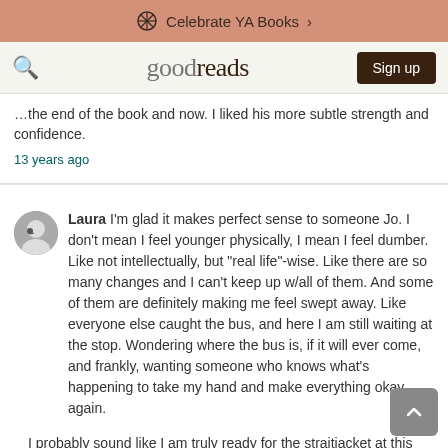Celebrate YA Books >
goodreads | Sign up
...the end of the book and now. I liked his more subtle strength and confidence.
13 years ago
Laura I'm glad it makes perfect sense to someone Jo. I don't mean I feel younger physically, I mean I feel dumber. Like not intellectually, but "real life"-wise. Like there are so many changes and I can't keep up w/all of them. And some of them are definitely making me feel swept away. Like everyone else caught the bus, and here I am still waiting at the stop. Wondering where the bus is, if it will ever come, and frankly, wanting someone who knows what's happening to take my hand and make everything okay again.
I probably sound like I am truly ready for the straitjacket at this point, and it's truly not that bad, but sometimes it does feel that way.